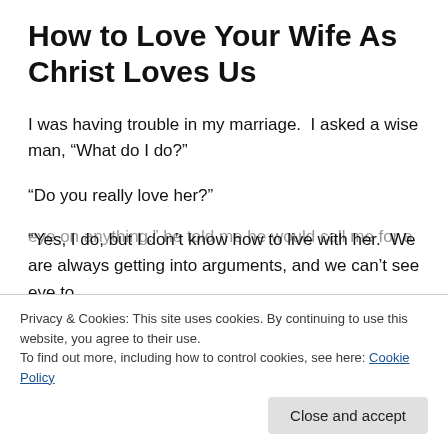How to Love Your Wife As Christ Loves Us
I was having trouble in my marriage.  I asked a wise man, “What do I do?”
“Do you really love her?”
“Yes, I do, but I don’t know how to live with her.  We are always getting into arguments, and we can’t see eye to
Privacy & Cookies: This site uses cookies. By continuing to use this website, you agree to their use.
To find out more, including how to control cookies, see here: Cookie Policy
to make.